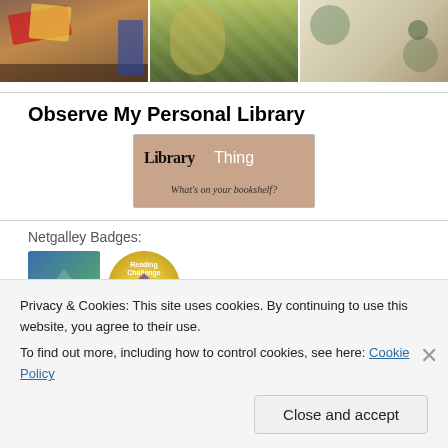[Figure (photo): Three photos in a row: person holding books at a bookshelf, a floral thermos/bottle, and a floral fabric/clothing item]
Observe My Personal Library
[Figure (logo): LibraryThing badge - 'Library Thing - What's on your bookshelf?']
Netgalley Badges:
[Figure (photo): Two Netgalley badge icons: a square badge with mountain/geometric design and a circular yellow challenge badge]
Privacy & Cookies: This site uses cookies. By continuing to use this website, you agree to their use.
To find out more, including how to control cookies, see here: Cookie Policy
Close and accept